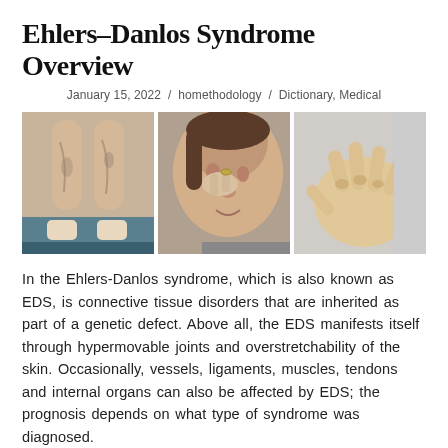Ehlers–Danlos Syndrome Overview
January 15, 2022  /  homethodology  /  Dictionary, Medical
[Figure (photo): Three photos showing Ehlers-Danlos syndrome manifestations: (1) person's legs showing skin/vein features, (2) woman pinching/stretching nose skin, (3) hypermobile hand/finger joints]
In the Ehlers-Danlos syndrome, which is also known as EDS, is connective tissue disorders that are inherited as part of a genetic defect. Above all, the EDS manifests itself through hypermovable joints and overstretchability of the skin. Occasionally, vessels, ligaments, muscles, tendons and internal organs can also be affected by EDS; the prognosis depends on what type of syndrome was diagnosed.
epidemiology